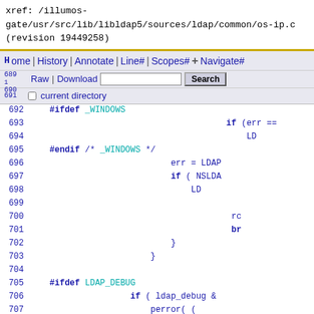xref: /illumos-gate/usr/src/lib/libldap5/sources/ldap/common/os-ip.c (revision 19449258)
Home | History | Annotate | Line# | Scopes# | Navigate#
Raw | Download | [search box] Search
current directory
[Figure (screenshot): Source code viewer showing C code lines 689-712 from os-ip.c with line numbers, preprocessor directives #ifdef _WINDOWS, #endif, #ifdef LDAP_DEBUG, #endif, and code including if/else blocks, err assignments, perror calls, (*closefn)(s), and if(!use_hp){break; statements]
689
690
691
692  #ifdef _WINDOWS
693
694
695  #endif /* _WINDOWS */
696
697
698
699
700
701
702
703
704
705  #ifdef LDAP_DEBUG
706
707
708
709  #endif
710
711
712